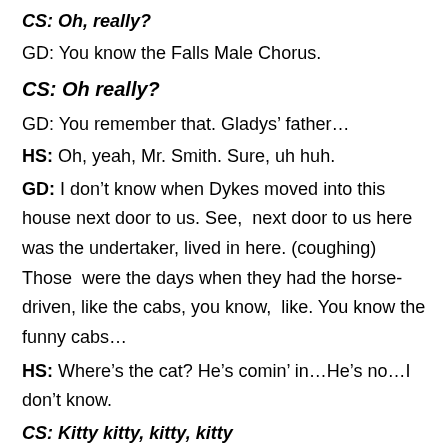CS: Oh, really?
GD: You know the Falls Male Chorus.
CS: Oh really?
GD: You remember that. Gladys’ father…
HS: Oh, yeah, Mr. Smith. Sure, uh huh.
GD: I don’t know when Dykes moved into this house next door to us. See,  next door to us here was the undertaker, lived in here. (coughing) Those  were the days when they had the horse-driven, like the cabs, you know,  like. You know the funny cabs…
HS: Where’s the cat? He’s comin’ in…He’s no…I don’t know.
CS: Kitty kitty, kitty, kitty
HS: Sh sh sh…